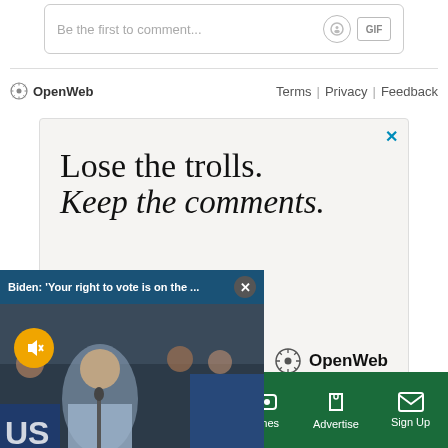[Figure (screenshot): Comment input box with placeholder text 'Be the first to comment...' and camera and GIF icon buttons]
[Figure (screenshot): OpenWeb branding bar with Terms, Privacy, and Feedback links]
[Figure (screenshot): Advertisement box with text 'Lose the trolls. Keep the comments.' and OpenWeb logo]
[Figure (screenshot): Video popup overlay showing Biden speech with header 'Biden: Your right to vote is on the ...' and mute button]
Sections | NY Edition | Philly | Games | Advertise | Sign Up